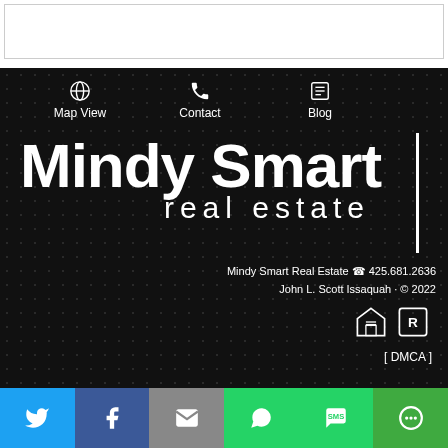[Figure (other): White rectangle box at top of page (likely image placeholder)]
[Figure (other): Dark textured background section with navigation icons and brand logo for Mindy Smart Real Estate]
Map View
Contact
Blog
Mindy Smart real estate
Mindy Smart Real Estate ☎ 425.681.2636
John L. Scott Issaquah · © 2022
[ DMCA ]
[Figure (other): Social sharing bar with Twitter, Facebook, Email, WhatsApp, SMS, and More buttons]